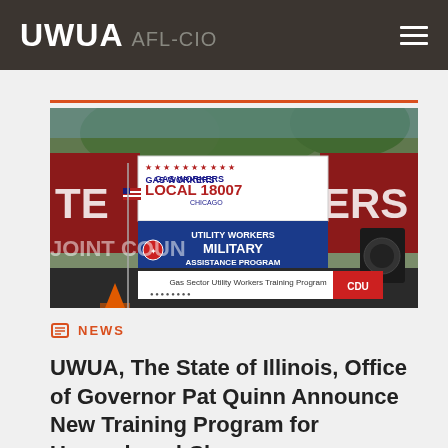UWUA AFL-CIO
[Figure (photo): Outdoor event stage with banners reading 'GAS WORKERS LOCAL 18007 CHICAGO', 'UTILITY WORKERS MILITARY ASSISTANCE PROGRAM', and 'Gas Sector Utility Workers Training Program'. Teamsters banners visible in background with American flag.]
NEWS
UWUA, The State of Illinois, Office of Governor Pat Quinn Announce New Training Program for Unemployed Ch...